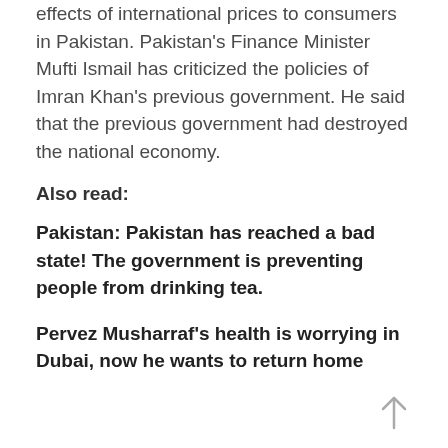effects of international prices to consumers in Pakistan. Pakistan's Finance Minister Mufti Ismail has criticized the policies of Imran Khan's previous government. He said that the previous government had destroyed the national economy.
Also read:
Pakistan: Pakistan has reached a bad state! The government is preventing people from drinking tea.
Pervez Musharraf's health is worrying in Dubai, now he wants to return home